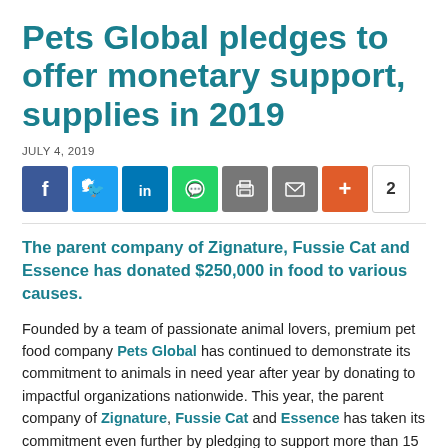Pets Global pledges to offer monetary support, supplies in 2019
JULY 4, 2019
[Figure (infographic): Social media share buttons: Facebook, Twitter, LinkedIn, WhatsApp, Print, Email, Plus, and a share count of 2]
The parent company of Zignature, Fussie Cat and Essence has donated $250,000 in food to various causes.
Founded by a team of passionate animal lovers, premium pet food company Pets Global has continued to demonstrate its commitment to animals in need year after year by donating to impactful organizations nationwide. This year, the parent company of Zignature, Fussie Cat and Essence has taken its commitment even further by pledging to support more than 15...